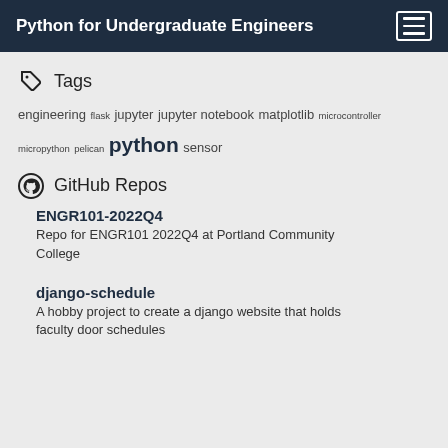Python for Undergraduate Engineers
Tags
engineering flask jupyter jupyter notebook matplotlib microcontroller micropython pelican python sensor
GitHub Repos
ENGR101-2022Q4
Repo for ENGR101 2022Q4 at Portland Community College
django-schedule
A hobby project to create a django website that holds faculty door schedules